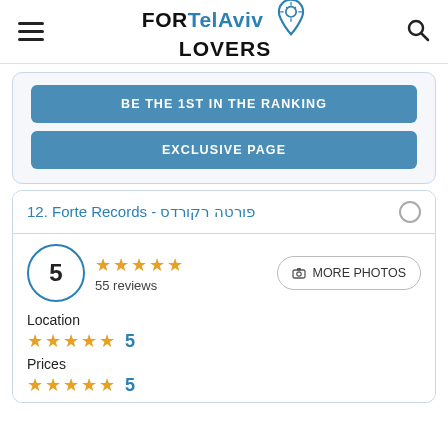FORTelAviv LOVERS
BE THE 1ST IN THE RANKING
EXCLUSIVE PAGE
12. Forte Records - פורטה רקורדס
5  ★★★★★  55 reviews  MORE PHOTOS
Location  ★★★★★  5
Prices  ★★★★★  5